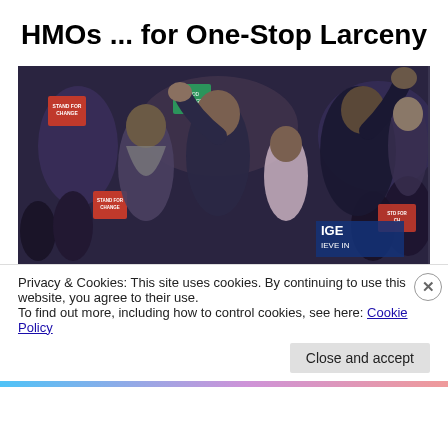HMOs ... for One-Stop Larceny
[Figure (photo): A family waving to a crowd at a political rally. A woman in a dark top and a man in a suit stand with two children, surrounded by supporters holding 'Stand for Change' signs.]
Privacy & Cookies: This site uses cookies. By continuing to use this website, you agree to their use.
To find out more, including how to control cookies, see here: Cookie Policy
Close and accept